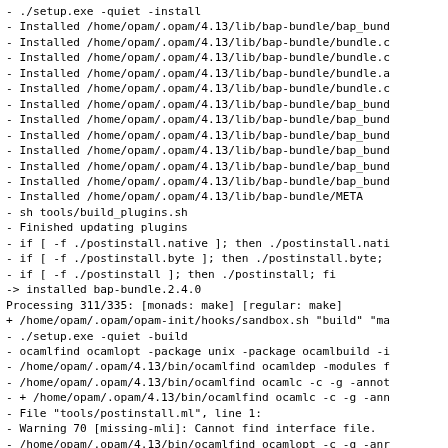- ./setup.exe -quiet -install
- Installed /home/opam/.opam/4.13/lib/bap-bundle/bap_bund
- Installed /home/opam/.opam/4.13/lib/bap-bundle/bundle.c
- Installed /home/opam/.opam/4.13/lib/bap-bundle/bundle.c
- Installed /home/opam/.opam/4.13/lib/bap-bundle/bundle.a
- Installed /home/opam/.opam/4.13/lib/bap-bundle/bundle.c
- Installed /home/opam/.opam/4.13/lib/bap-bundle/bap_bund
- Installed /home/opam/.opam/4.13/lib/bap-bundle/bap_bund
- Installed /home/opam/.opam/4.13/lib/bap-bundle/bap_bund
- Installed /home/opam/.opam/4.13/lib/bap-bundle/bap_bund
- Installed /home/opam/.opam/4.13/lib/bap-bundle/bap_bund
- Installed /home/opam/.opam/4.13/lib/bap-bundle/bap_bund
- Installed /home/opam/.opam/4.13/lib/bap-bundle/META
- sh tools/build_plugins.sh
- Finished updating plugins
- if [ -f ./postinstall.native ]; then ./postinstall.nati
- if [ -f ./postinstall.byte ]; then ./postinstall.byte;
- if [ -f ./postinstall ]; then ./postinstall; fi
-> installed bap-bundle.2.4.0
Processing 311/335: [monads: make] [regular: make]
+ /home/opam/.opam/opam-init/hooks/sandbox.sh "build" "ma
- ./setup.exe -quiet -build
- ocamlfind ocamlopt -package unix -package ocamlbuild -i
- /home/opam/.opam/4.13/bin/ocamlfind ocamldep -modules f
- /home/opam/.opam/4.13/bin/ocamlfind ocamlc -c -g -annot
- + /home/opam/.opam/4.13/bin/ocamlfind ocamlc -c -g -ann
- File "tools/postinstall.ml", line 1:
- Warning 70 [missing-mli]: Cannot find interface file.
- /home/opam/.opam/4.13/bin/ocamlfind ocamlopt -c -g -anr
- + /home/opam/.opam/4.13/bin/ocamlfind ocamlopt -c -g -a